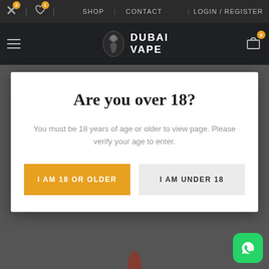SHOP | CONTACT | LOGIN / REGISTER
[Figure (logo): Dubai Vape logo with stylized figure graphic and text DUBAI VAPE]
Are you over 18?
You must be 18 years of age or older to view page. Please verify your age to enter.
I AM 18 OR OLDER
I AM UNDER 18
[Figure (photo): Partial product image at bottom of page behind modal overlay]
[Figure (logo): WhatsApp chat button icon in green rounded square at bottom right]